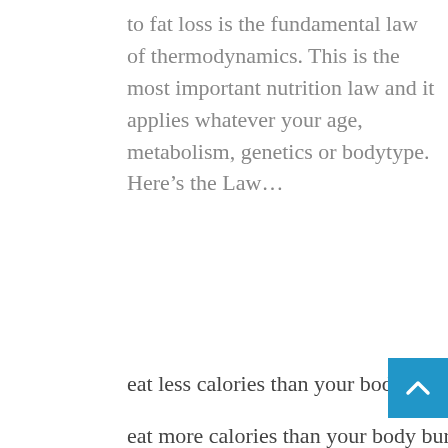to fat loss is the fundamental law of thermodynamics. This is the most important nutrition law and it applies whatever your age, metabolism, genetics or bodytype. Here's the Law...
eat less calories than your body burns => you'll lose fat
eat more calories than your body burns => you'll